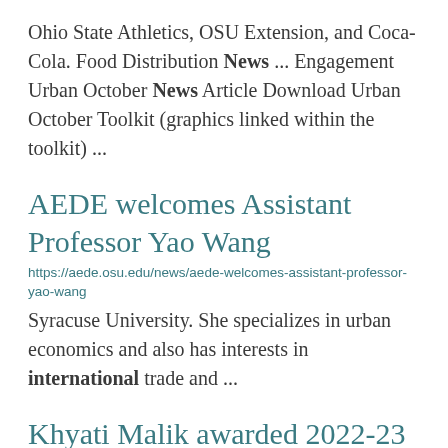Ohio State Athletics, OSU Extension, and Coca-Cola. Food Distribution News ... Engagement Urban October News Article Download Urban October Toolkit (graphics linked within the toolkit) ...
AEDE welcomes Assistant Professor Yao Wang
https://aede.osu.edu/news/aede-welcomes-assistant-professor-yao-wang
Syracuse University. She specializes in urban economics and also has interests in international trade and ...
Khyati Malik awarded 2022-23